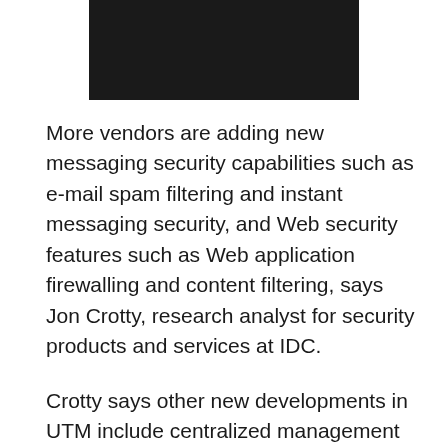[Figure (photo): Dark/black image at the top of the page]
More vendors are adding new messaging security capabilities such as e-mail spam filtering and instant messaging security, and Web security features such as Web application firewalling and content filtering, says Jon Crotty, research analyst for security products and services at IDC.
Crotty says other new developments in UTM include centralized management using graphical interfaces, enabling networkwide changes for licensing and upgrades, and network features such as the ability to monitor latency and throughput and automated event correlation and